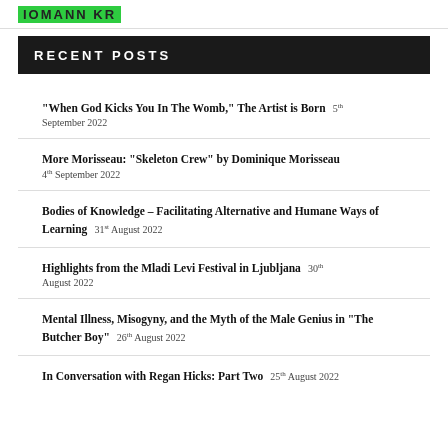IOMANN KR
RECENT POSTS
“When God Kicks You In The Womb,” The Artist is Born 5th September 2022
More Morisseau: “Skeleton Crew” by Dominique Morisseau 4th September 2022
Bodies of Knowledge – Facilitating Alternative and Humane Ways of Learning 31st August 2022
Highlights from the Mladi Levi Festival in Ljubljana 30th August 2022
Mental Illness, Misogyny, and the Myth of the Male Genius in “The Butcher Boy” 26th August 2022
In Conversation with Regan Hicks: Part Two 25th August 2022